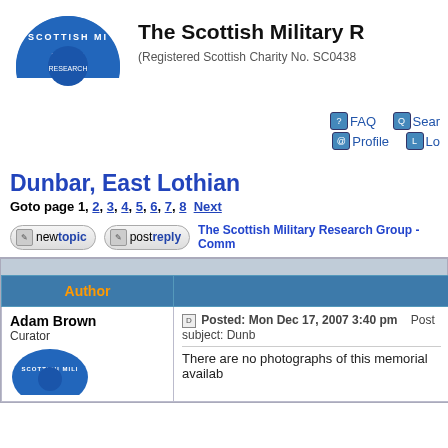[Figure (logo): Scottish Military Research Group circular logo, blue semicircle with white text]
The Scottish Military R
(Registered Scottish Charity No. SC0438
FAQ  Search  Profile  Lo
Dunbar, East Lothian
Goto page 1, 2, 3, 4, 5, 6, 7, 8  Next
new topic   post reply   The Scottish Military Research Group - Comm
| Author |  |
| --- | --- |
| Adam Brown
Curator
[logo image] | Posted: Mon Dec 17, 2007 3:40 pm   Post subject: Dunb

There are no photographs of this memorial availab |